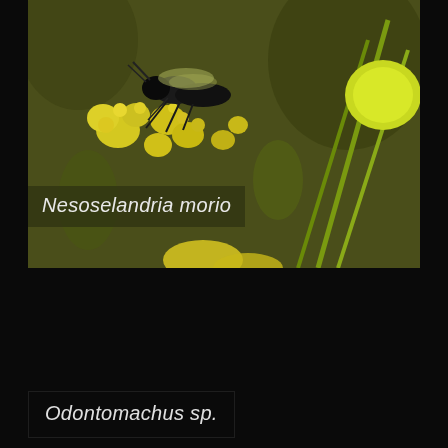[Figure (photo): Close-up macro photograph of a sawfly (Nesoselandria morio) on yellow flowers, likely fennel or similar umbelliferous plant. The insect is dark/black, and the flowers are vivid yellow-green against a dark background.]
Nesoselandria morio
Odontomachus sp.